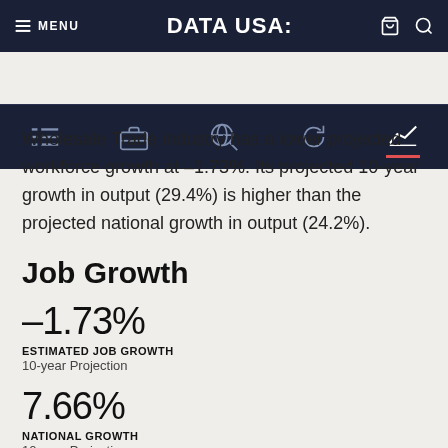MENU | DATA USA: | [cart] [search]
[Figure (screenshot): Navigation icon row with five icons: list/menu, briefcase, globe/search, refresh/cycle, and line-chart icons. The rightmost chart icon is active with a red underline indicator.]
Wholesale Trade industry has a lower projected workforce growth at –1.73%. Its projected 10-year growth in output (29.4%) is higher than the projected national growth in output (24.2%).
Job Growth
–1.73%
ESTIMATED JOB GROWTH
10-year Projection
7.66%
NATIONAL GROWTH
10-year Projection
This line chart shows the projected 10-year growth in the number of jobs for Wholesale Trade. This industry is